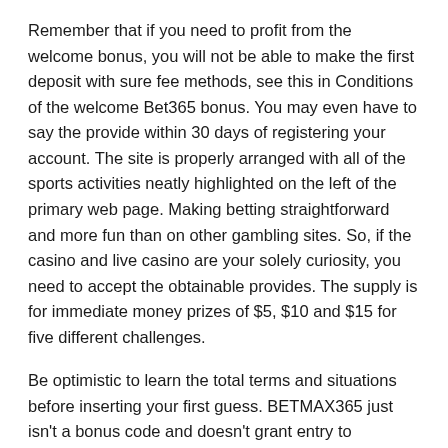Remember that if you need to profit from the welcome bonus, you will not be able to make the first deposit with sure fee methods, see this in Conditions of the welcome Bet365 bonus. You may even have to say the provide within 30 days of registering your account. The site is properly arranged with all of the sports activities neatly highlighted on the left of the primary web page. Making betting straightforward and more fun than on other gambling sites. So, if the casino and live casino are your solely curiosity, you need to accept the obtainable provides. The supply is for immediate money prizes of $5, $10 and $15 for five different challenges.
Be optimistic to learn the total terms and situations before inserting your first guess. BETMAX365 just isn't a bonus code and doesn't grant entry to additional offers. Multi Bets – Add your bets to the guess slip and the biggest on the market straight Multi Bet will present up at the backside of the wager slip. Another plus is that bet365 is one of the leaders in relation to imminent fixtures. The